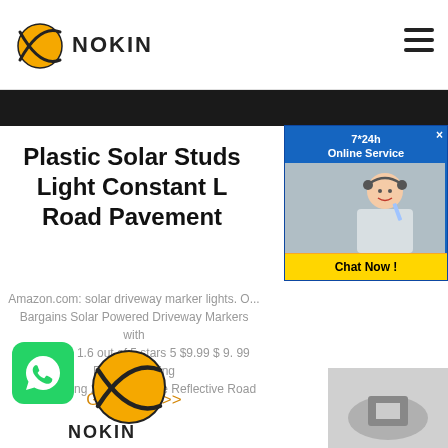NOKIN
Plastic Solar Studs Light Constant Road Pavement
Amazon.com: solar driveway marker lights. O... Bargains Solar Powered Driveway Markers with Setting (1) 1.6 out of 5 stars 5 $9.99 $ 9. 99 FREE Shipping GreenLighting 20 Pack White Reflective Road Studs -...
Get Price >>
[Figure (logo): NOKIN logo at bottom with WhatsApp icon]
[Figure (photo): Customer service representative advertisement popup with '7*24h Online Service' header and 'Chat Now!' button]